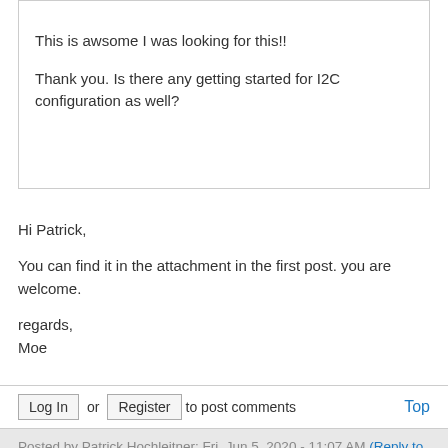This is awsome I was looking for this!!

Thank you. Is there any getting started for I2C configuration as well?
Hi Patrick,

You can find it in the attachment in the first post. you are welcome.

regards,
Moe
Log In or Register to post comments   Top
Posted by Patrick Hochleitner: Fri. Jun 5, 2020 - 11:07 AM (Reply to #47) #48
Hi Moe,

Thanks I downloaded everything without paying attention to the content..